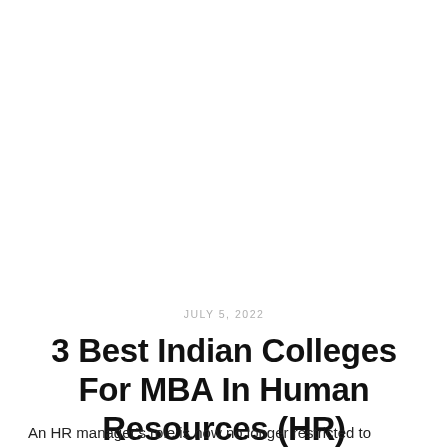JULY 5, 2022
3 Best Indian Colleges For MBA In Human Resources (HR)
An HR manager's role is now no longer restricted to traditional